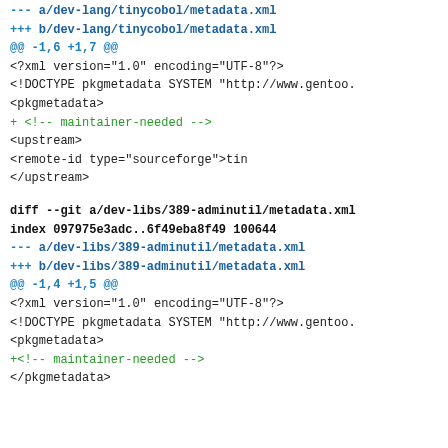--- a/dev-lang/tinycobol/metadata.xml
+++ b/dev-lang/tinycobol/metadata.xml
@@ -1,6 +1,7 @@
 <?xml version="1.0" encoding="UTF-8"?>
 <!DOCTYPE pkgmetadata SYSTEM "http://www.gentoo.
 <pkgmetadata>
+        <!-- maintainer-needed -->
         <upstream>
                 <remote-id type="sourceforge">tin
         </upstream>

diff --git a/dev-libs/389-adminutil/metadata.xml
index 097975e3adc..6f49eba8f49 100644
--- a/dev-libs/389-adminutil/metadata.xml
+++ b/dev-libs/389-adminutil/metadata.xml
@@ -1,4 +1,5 @@
 <?xml version="1.0" encoding="UTF-8"?>
 <!DOCTYPE pkgmetadata SYSTEM "http://www.gentoo.
 <pkgmetadata>
+<!-- maintainer-needed -->
 </pkgmetadata>